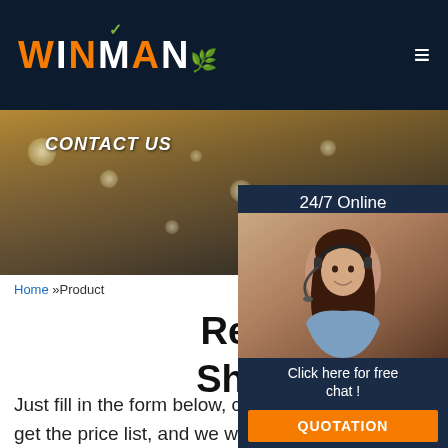[Figure (logo): WINMAN company logo with orange bold text, green checkmark above, green leaf after M, on dark navy background]
[Figure (photo): Banner image showing city skyline in sepia/gold tones with CONTACT US text overlay and glowing bokeh dots]
[Figure (photo): Sidebar panel with 24/7 Online label, photo of female customer service representative with headset, Click here for free chat text, and orange QUOTATION button]
Home »Product
Replaced Solvent Che Sheet Metal Bender Fa Direct Sales
Just fill in the form below, click submit, you will get the price list, and we will contact you within one working day. Please also feel free to